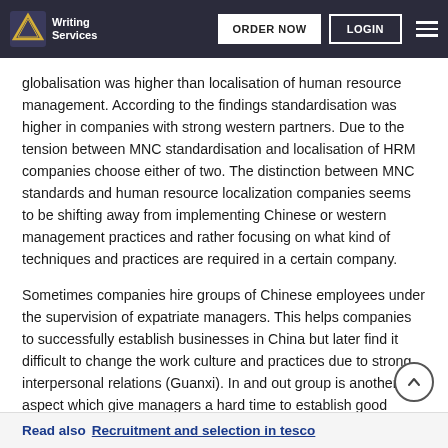Writing Services | ORDER NOW | LOGIN
globalisation was higher than localisation of human resource management. According to the findings standardisation was higher in companies with strong western partners. Due to the tension between MNC standardisation and localisation of HRM companies choose either of two. The distinction between MNC standards and human resource localization companies seems to be shifting away from implementing Chinese or western management practices and rather focusing on what kind of techniques and practices are required in a certain company.
Sometimes companies hire groups of Chinese employees under the supervision of expatriate managers. This helps companies to successfully establish businesses in China but later find it difficult to change the work culture and practices due to strong interpersonal relations (Guanxi). In and out group is another aspect which give managers a hard time to establish good relations and to externally hired Chinese employees.
Read also  Recruitment and selection in tesco